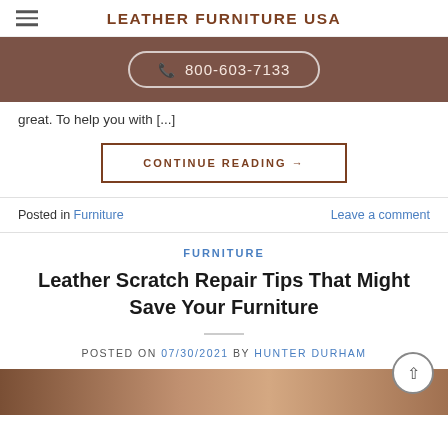LEATHER FURNITURE USA
[Figure (other): Phone number button with icon on brown background bar: 800-603-7133]
great. To help you with [...]
CONTINUE READING →
Posted in Furniture   Leave a comment
FURNITURE
Leather Scratch Repair Tips That Might Save Your Furniture
POSTED ON 07/30/2021 BY HUNTER DURHAM
[Figure (photo): Bottom portion of a room interior photo showing furniture]